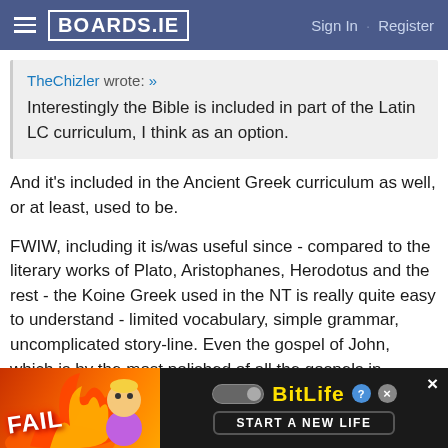BOARDS.IE  Sign In · Register
TheChizler wrote: »
Interestingly the Bible is included in part of the Latin LC curriculum, I think as an option.
And it's included in the Ancient Greek curriculum as well, or at least, used to be.
FWIW, including it is/was useful since - compared to the literary works of Plato, Aristophanes, Herodotus and the rest - the Koine Greek used in the NT is really quite easy to understand - limited vocabulary, simple grammar, uncomplicated story-line. Even the gospel of John, which is by the most polished of all the gospels in
[Figure (screenshot): Advertisement banner for BitLife mobile game showing 'FAIL' text with cartoon character and 'START A NEW LIFE' tagline]